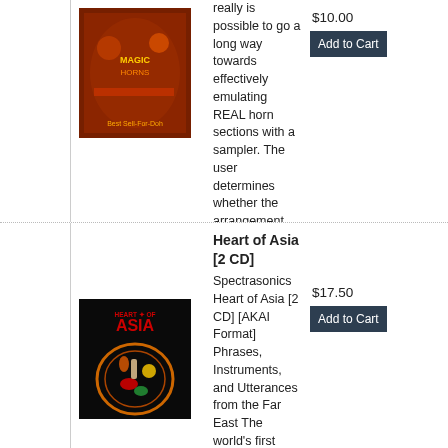really is possible to go a long way towards effectively emulating REAL horn sections with a sampler. The user determines whether the arrangement needs to combine three trumpets, or trumpet and tenor sax, or whatever. It all works together - the harmony of the section as well as the complete unity of the sounds is preserved. The...
[Figure (photo): Album art for a music CD - dark red/orange themed with band image]
$10.00
Add to Cart
Heart of Asia [2 CD]
Spectrasonics Heart of Asia [2 CD] [AKAI Format] Phrases, Instruments, and Utterances from the Far East The world's first comprehensive collection of Asian instruments and phrases. Digitally recorded in the heart of Asia, this remarkable two-disc set includes
[Figure (photo): Heart of Asia album cover - black background with HEART OF ASIA text and decorative Asian-inspired art with colorful bird/flower motif]
$17.50
Add to Cart